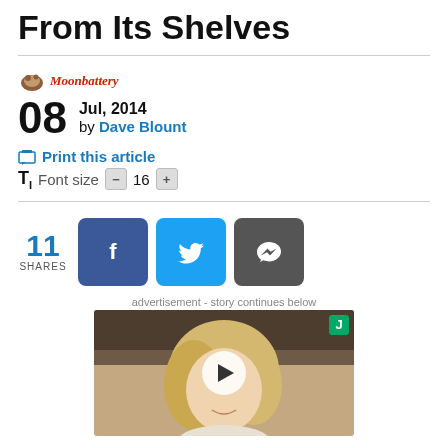From Its Shelves
[Figure (logo): Moonbattery logo with icon and italic red text]
08 Jul, 2014 by Dave Blount
Print this article
Font size - 16 +
11 SHARES
[Figure (other): Social share buttons: Facebook, Twitter, Comments]
advertisement - story continues below
[Figure (photo): Video thumbnail showing a blonde woman with a play button overlay and a J badge in the corner]